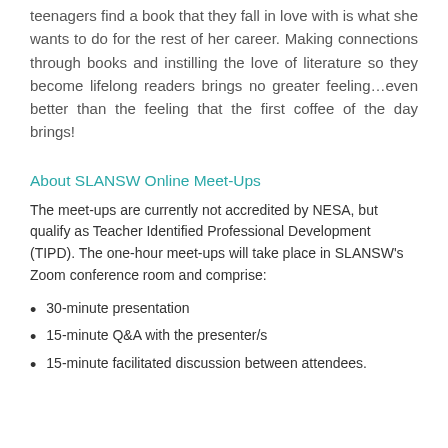teenagers find a book that they fall in love with is what she wants to do for the rest of her career. Making connections through books and instilling the love of literature so they become lifelong readers brings no greater feeling…even better than the feeling that the first coffee of the day brings!
About SLANSW Online Meet-Ups
The meet-ups are currently not accredited by NESA, but qualify as Teacher Identified Professional Development (TIPD). The one-hour meet-ups will take place in SLANSW's Zoom conference room and comprise:
30-minute presentation
15-minute Q&A with the presenter/s
15-minute facilitated discussion between attendees.